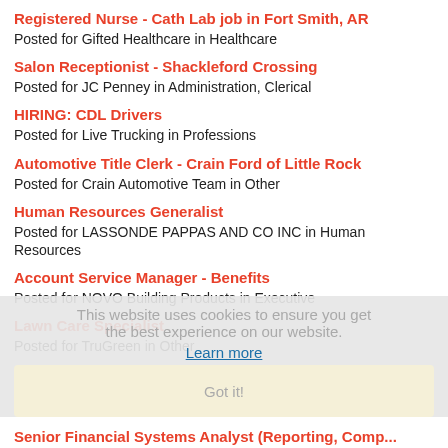Registered Nurse - Cath Lab job in Fort Smith, AR
Posted for Gifted Healthcare in Healthcare
Salon Receptionist - Shackleford Crossing
Posted for JC Penney in Administration, Clerical
HIRING: CDL Drivers
Posted for Live Trucking in Professions
Automotive Title Clerk - Crain Ford of Little Rock
Posted for Crain Automotive Team in Other
Human Resources Generalist
Posted for LASSONDE PAPPAS AND CO INC in Human Resources
Account Service Manager - Benefits
Posted for NOVO Building Products in Executive
Lawn Care Specialist
Posted for TruGreen in Other
Mechanic
Posted for RICH TRANSPORT LLC in Other